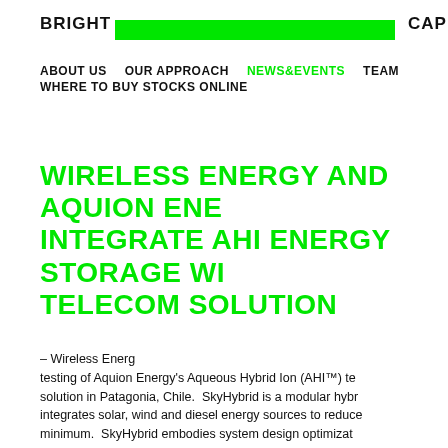BRIGHT  [green bar]  CAPITA
ABOUT US   OUR APPROACH   NEWS&EVENTS   TEAM   WHERE TO BUY STOCKS ONLINE
WIRELESS ENERGY AND AQUION ENERGY INTEGRATE AHI ENERGY STORAGE WITH TELECOM SOLUTION
– Wireless Energy testing of Aquion Energy's Aqueous Hybrid Ion (AHI™) technology solution in Patagonia, Chile.  SkyHybrid is a modular hybrid integrates solar, wind and diesel energy sources to reduce minimum.  SkyHybrid embodies system design optimization